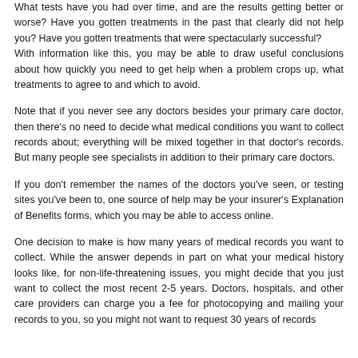What tests have you had over time, and are the results getting better or worse? Have you gotten treatments in the past that clearly did not help you? Have you gotten treatments that were spectacularly successful? With information like this, you may be able to draw useful conclusions about how quickly you need to get help when a problem crops up, what treatments to agree to and which to avoid.
Note that if you never see any doctors besides your primary care doctor, then there's no need to decide what medical conditions you want to collect records about; everything will be mixed together in that doctor's records. But many people see specialists in addition to their primary care doctors.
If you don't remember the names of the doctors you've seen, or testing sites you've been to, one source of help may be your insurer's Explanation of Benefits forms, which you may be able to access online.
One decision to make is how many years of medical records you want to collect. While the answer depends in part on what your medical history looks like, for non-life-threatening issues, you might decide that you just want to collect the most recent 2-5 years. Doctors, hospitals, and other care providers can charge you a fee for photocopying and mailing your records to you, so you might not want to request 30 years of records